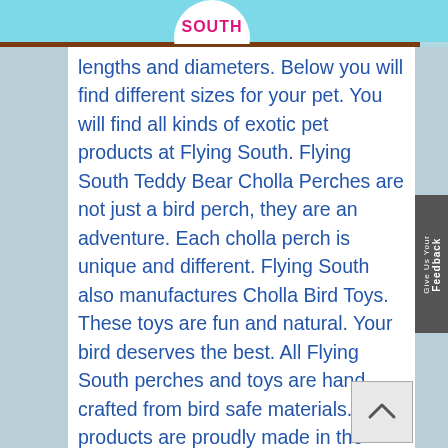[Figure (logo): Flying South logo — circular logo with pink and white text 'SOUTH' on cyan/blue background, partially visible at top center]
lengths and diameters. Below you will find different sizes for your pet. You will find all kinds of exotic pet products at Flying South. Flying South Teddy Bear Cholla Perches are not just a bird perch, they are an adventure. Each cholla perch is unique and different. Flying South also manufactures Cholla Bird Toys. These toys are fun and natural. Your bird deserves the best. All Flying South perches and toys are hand crafted from bird safe materials. All products are proudly made in the United States of America. Flying South manufactures pet products for birds,